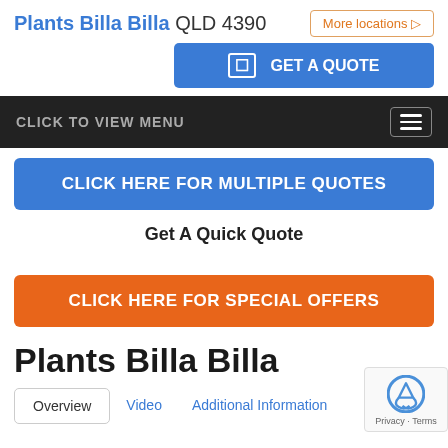Plants Billa Billa QLD 4390  More locations
GET A QUOTE
CLICK TO VIEW MENU
CLICK HERE FOR MULTIPLE QUOTES
Get A Quick Quote
CLICK HERE FOR SPECIAL OFFERS
Plants Billa Billa
Overview
Video
Additional Information